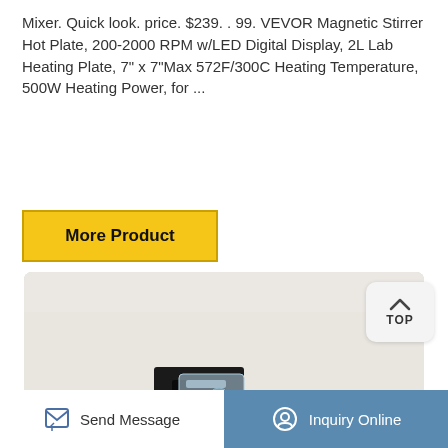Mixer. Quick look. price. $239. . 99. VEVOR Magnetic Stirrer Hot Plate, 200-2000 RPM w/LED Digital Display, 2L Lab Heating Plate, 7" x 7"Max 572F/300C Heating Temperature, 500W Heating Power, for ...
More Product
[Figure (photo): Close-up photo of a laboratory magnetic stirrer hot plate showing a USB/port connector on the side of a white and black device body]
Send Message
Inquiry Online